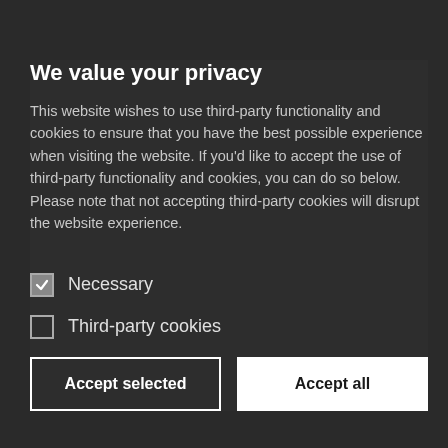We value your privacy
This website wishes to use third-party functionality and cookies to ensure that you have the best possible experience when visiting the website. If you'd like to accept the use of third-party functionality and cookies, you can do so below. Please note that not accepting third-party cookies will disrupt the website experience.
Necessary (checked)
Third-party cookies (unchecked)
Accept selected | Accept all